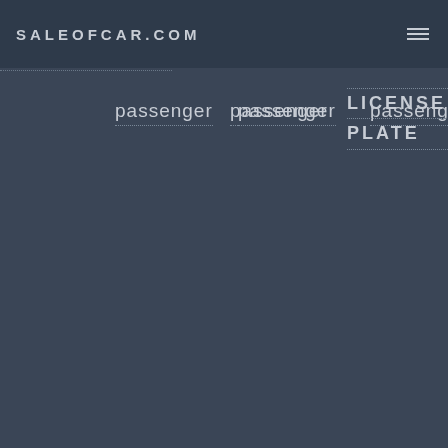Saleofcar.com
passenger
passenger
LICENSE PLATE